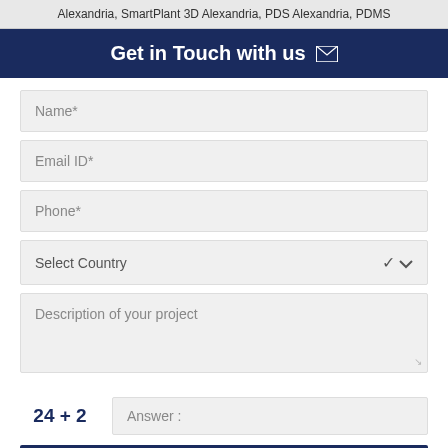Alexandria, SmartPlant 3D Alexandria, PDS Alexandria, PDMS
Get in Touch with us
Name*
Email ID*
Phone*
Select Country
Description of your project
24 + 2    Answer :
SUBMIT